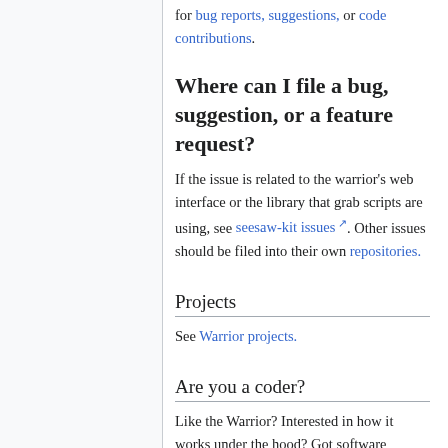for bug reports, suggestions, or code contributions.
Where can I file a bug, suggestion, or a feature request?
If the issue is related to the warrior's web interface or the library that grab scripts are using, see seesaw-kit issues. Other issues should be filed into their own repositories.
Projects
See Warrior projects.
Are you a coder?
Like the Warrior? Interested in how it works under the hood? Got software